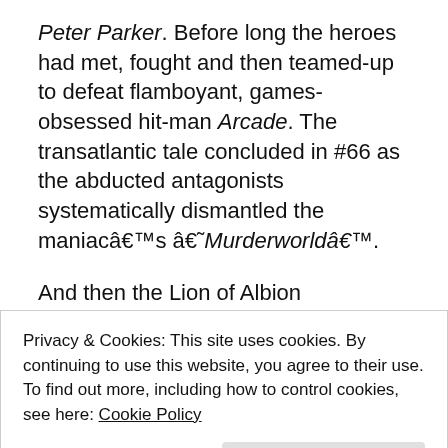Peter Parker. Before long the heroes had met, fought and then teamed-up to defeat flamboyant, games-obsessed hit-man Arcade. The transatlantic tale concluded in #66 as the abducted antagonists systematically dismantled the maniacâ€™s â€˜Murderworldâ€™.
And then the Lion of Albion disappeared on both sides of the pondâ€¦ until March 1979, when British weekly Hulk Comic debuted with an eclectic mix of Marvel reprints that veteran editor Dez Skinn felt better suited the British market.
Privacy & Cookies: This site uses cookies. By continuing to use this website, you agree to their use.
To find out more, including how to control cookies, see here: Cookie Policy
spies here, and noir-tinged pulp/gangster thriller Night